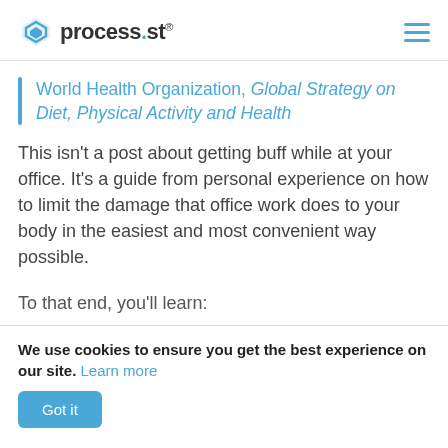process.st
World Health Organization, Global Strategy on Diet, Physical Activity and Health
This isn't a post about getting buff while at your office. It's a guide from personal experience on how to limit the damage that office work does to your body in the easiest and most convenient way possible.
To that end, you'll learn:
We use cookies to ensure you get the best experience on our site. Learn more
Got it